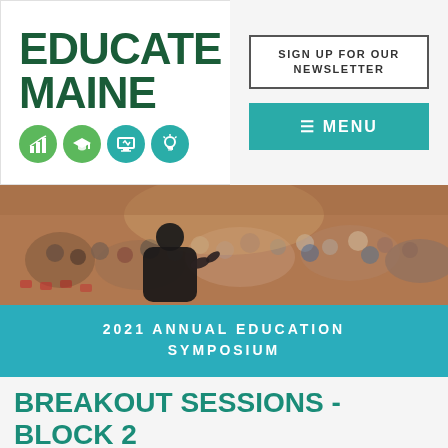[Figure (logo): Educate Maine logo with green text and four circular icons]
SIGN UP FOR OUR NEWSLETTER
≡ MENU
[Figure (photo): Speaker from behind addressing a large auditorium audience]
2021 ANNUAL EDUCATION SYMPOSIUM
BREAKOUT SESSIONS - BLOCK 2
A PATH TO RE-VISIONING CTE